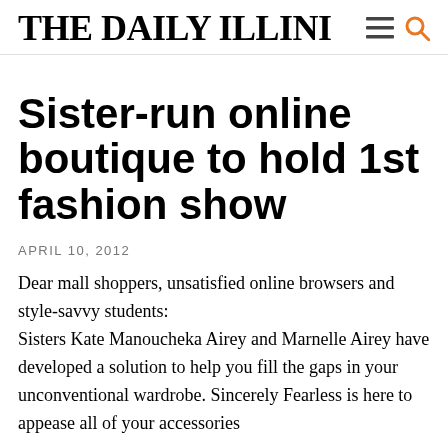THE DAILY ILLINI
Sister-run online boutique to hold 1st fashion show
APRIL 10, 2012
Dear mall shoppers, unsatisfied online browsers and style-savvy students:
Sisters Kate Manoucheka Airey and Marnelle Airey have developed a solution to help you fill the gaps in your unconventional wardrobe. Sincerely Fearless is here to appease all of your accessories